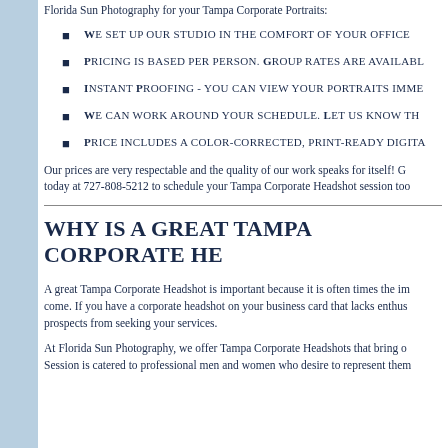Florida Sun Photography for your Tampa Corporate Portraits:
We set up our studio in the comfort of your office
Pricing is based per person. Group rates are available
Instant Proofing - you can view your portraits imme...
We can work around your schedule. Let us know th...
Price includes a color-corrected, print-ready digita...
Our prices are very respectable and the quality of our work speaks for itself! G... today at 727-808-5212 to schedule your Tampa Corporate Headshot session too
WHY IS A GREAT TAMPA CORPORATE HE...
A great Tampa Corporate Headshot is important because it is often times the im... come. If you have a corporate headshot on your business card that lacks enthus... prospects from seeking your services.
At Florida Sun Photography, we offer Tampa Corporate Headshots that bring o... Session is catered to professional men and women who desire to represent them...